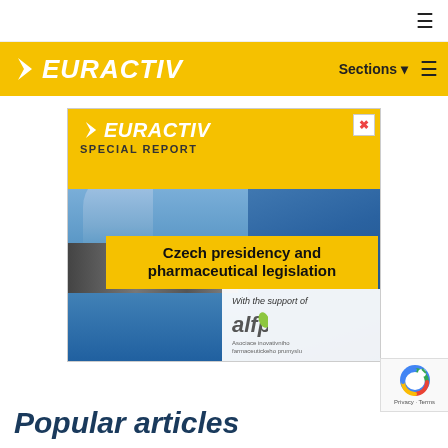≡
[Figure (logo): EURACTIV logo in white on yellow header bar with Sections menu and hamburger icon]
[Figure (infographic): EURACTIV Special Report advertisement banner: Czech presidency and pharmaceutical legislation, with support of alfp (Asociace inovativniho farmaceutickeho prumyslu). Shows pharmaceutical worker in blue gloves with machinery.]
Popular articles